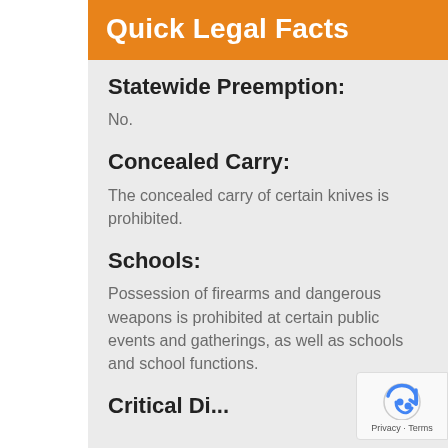Quick Legal Facts
Statewide Preemption:
No.
Concealed Carry:
The concealed carry of certain knives is prohibited.
Schools:
Possession of firearms and dangerous weapons is prohibited at certain public events and gatherings, as well as schools and school functions.
Critical Di...